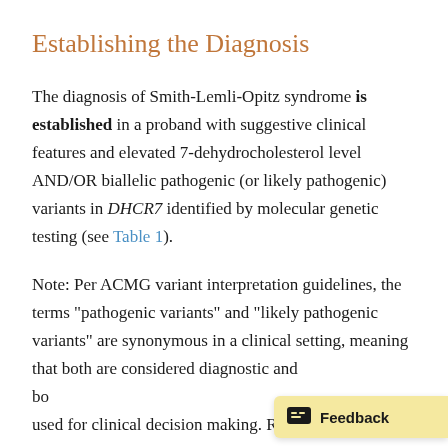Establishing the Diagnosis
The diagnosis of Smith-Lemli-Opitz syndrome is established in a proband with suggestive clinical features and elevated 7-dehydrocholesterol level AND/OR biallelic pathogenic (or likely pathogenic) variants in DHCR7 identified by molecular genetic testing (see Table 1).
Note: Per ACMG variant interpretation guidelines, the terms "pathogenic variants" and "likely pathogenic variants" are synonymous in a clinical setting, meaning that both are considered diagnostic and bo... used for clinical decision making. Referen...